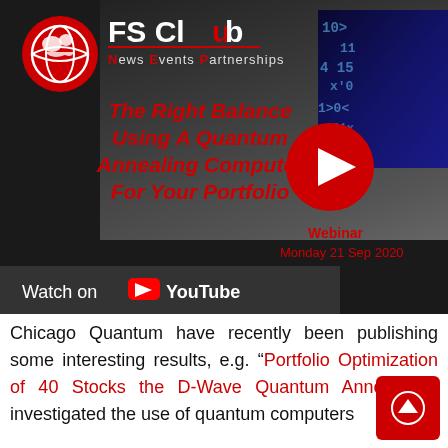[Figure (screenshot): FS Club banner with logo, title overlay 'The Right Balance Using A Quantum Annealing Computer For Your Portfolio', YouTube play button, date Monday 21 Sep 2020, Watch on YouTube bar]
Chicago Quantum have recently been publishing some interesting results, e.g. “Portfolio Optimization of 40 Stocks the D-Wave Quantum Annealer ”. investigated the use of quantum computers